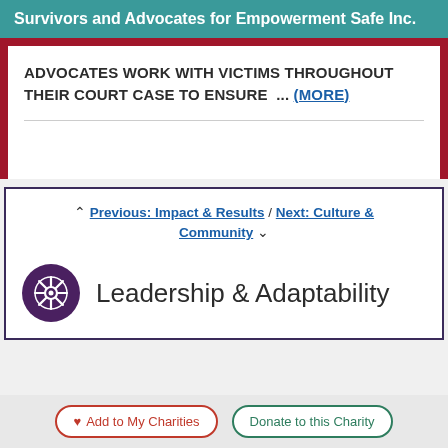Survivors and Advocates for Empowerment Safe Inc.
ADVOCATES WORK WITH VICTIMS THROUGHOUT THEIR COURT CASE TO ENSURE  ... (More)
Previous: Impact & Results / Next: Culture & Community
Leadership & Adaptability
Add to My Charities | Donate to this Charity